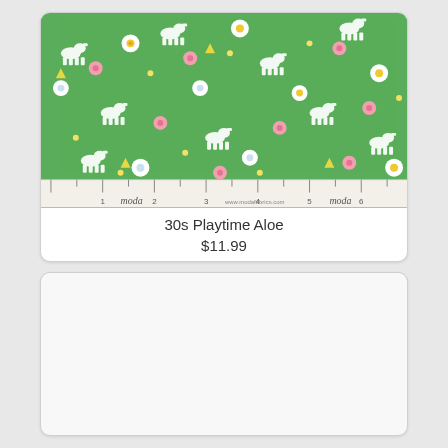[Figure (photo): Green fabric swatch with white scottie dogs, pink, yellow, and white daisy flowers in a scattered pattern on green background. A ruler strip along the bottom shows inch markings 1-7, with 'moda' branding text below the ruler.]
30s Playtime Aloe
$11.99
[Figure (photo): Mostly blank/white card area with light gray border, appears to be a placeholder or loading state for a second product.]